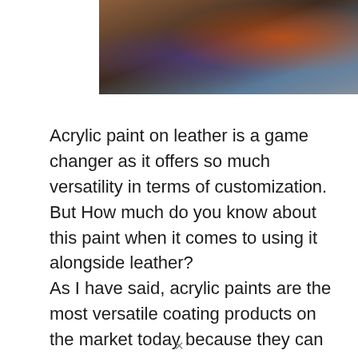[Figure (photo): Close-up photograph of colorful painted leather or art pieces with orange, blue, purple, and brown tones]
Acrylic paint on leather is a game changer as it offers so much versatility in terms of customization. But How much do you know about this paint when it comes to using it alongside leather?
As I have said, acrylic paints are the most versatile coating products on the market today because they can stick to almost all surfaces. Moreover, they are very adaptable.
You can dilute them with water or modify them with other acrylic gels and pastes to create special